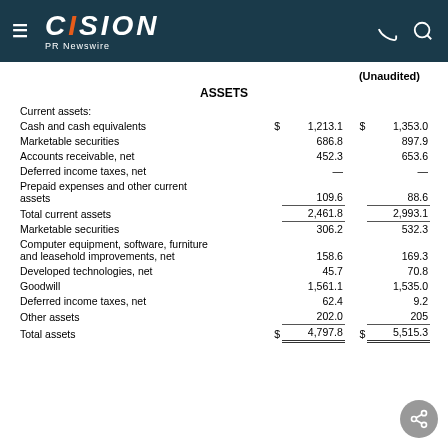CISION PR Newswire
(Unaudited)
ASSETS
|  |  |  |  |  |
| --- | --- | --- | --- | --- |
| Current assets: |  |  |  |  |
| Cash and cash equivalents | $ | 1,213.1 | $ | 1,353.0 |
| Marketable securities |  | 686.8 |  | 897.9 |
| Accounts receivable, net |  | 452.3 |  | 653.6 |
| Deferred income taxes, net |  | — |  | — |
| Prepaid expenses and other current assets |  | 109.6 |  | 88.6 |
| Total current assets |  | 2,461.8 |  | 2,993.1 |
| Marketable securities |  | 306.2 |  | 532.3 |
| Computer equipment, software, furniture and leasehold improvements, net |  | 158.6 |  | 169.3 |
| Developed technologies, net |  | 45.7 |  | 70.8 |
| Goodwill |  | 1,561.1 |  | 1,535.0 |
| Deferred income taxes, net |  | 62.4 |  | 9.2 |
| Other assets |  | 202.0 |  | 205 |
| Total assets | $ | 4,797.8 | $ | 5,515.3 |